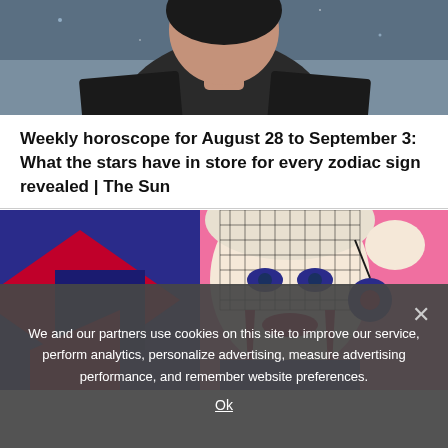[Figure (photo): Top portion of a photo showing a person (partially cropped) against a dark/blue background]
Weekly horoscope for August 28 to September 3: What the stars have in store for every zodiac sign revealed | The Sun
[Figure (illustration): Colorful pop-art style illustration of a stylized woman's face with a veil, red earrings, against a pink and dark blue geometric background]
We and our partners use cookies on this site to improve our service, perform analytics, personalize advertising, measure advertising performance, and remember website preferences.
Ok